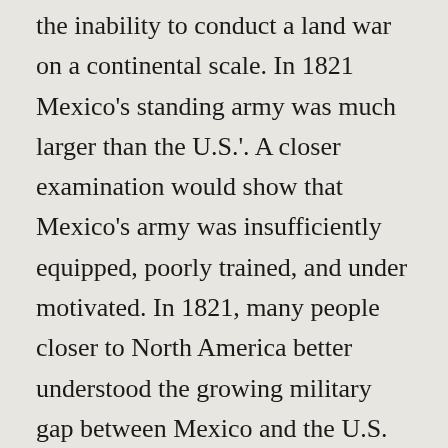the inability to conduct a land war on a continental scale. In 1821 Mexico's standing army was much larger than the U.S.'. A closer examination would show that Mexico's army was insufficiently equipped, poorly trained, and under motivated. In 1821, many people closer to North America better understood the growing military gap between Mexico and the U.S.
Economically, Mexico was the weaker neighbor in 1821. Mexican leaders hoped that they could revitalize the silver trade that had once made Spain a dominate power. Unfortunately, most of the infrastructure associated with mining were